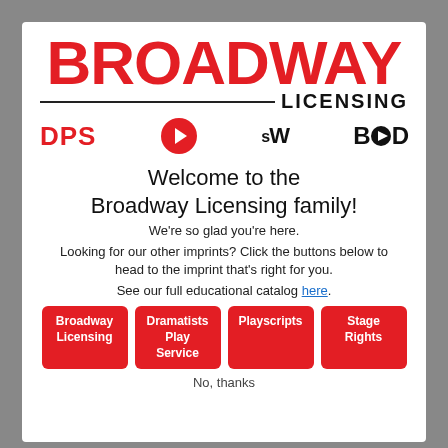[Figure (logo): Broadway Licensing logo with DPS, Playscripts circle R, sW, and BOD imprint logos]
Welcome to the Broadway Licensing family!
We're so glad you're here.
Looking for our other imprints? Click the buttons below to head to the imprint that's right for you.
See our full educational catalog here.
Broadway Licensing
Dramatists Play Service
Playscripts
Stage Rights
No, thanks